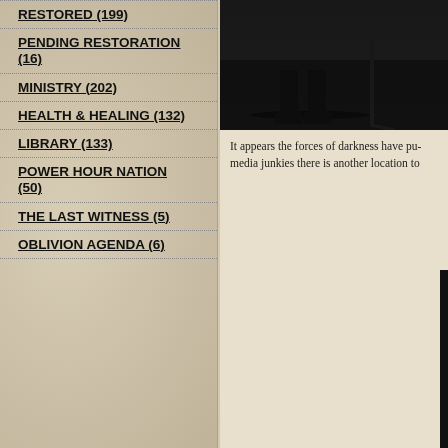RESTORED (199)
PENDING RESTORATION (16)
MINISTRY (202)
HEALTH & HEALING (132)
LIBRARY (133)
POWER HOUR NATION (50)
THE LAST WITNESS (5)
OBLIVION AGENDA (6)
[Figure (photo): Dark black and white photo of a person on stage, lower body/feet visible, with cables on floor]
It appears the forces of darkness have pu- media junkies there is another location to
[Figure (photo): Black square with bold white uppercase text reading: "WHENEVER YOU F- OF THE MAJORITY, R-" with attribution below]